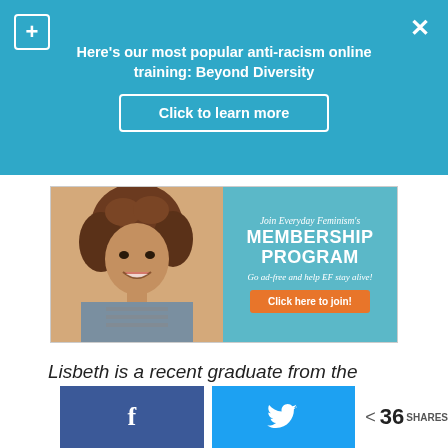Here's our most popular anti-racism online training: Beyond Diversity
Click to learn more
[Figure (illustration): Everyday Feminism membership program advertisement showing a young woman smiling on the left, with teal background on the right reading 'Join Everyday Feminism's MEMBERSHIP PROGRAM - Go ad-free and help EF stay alive! Click here to join!']
Lisbeth is a recent graduate from the University of Southern California, where she received a B.A. in